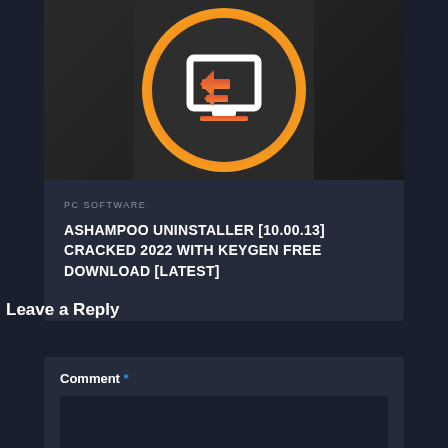[Figure (screenshot): Ashampoo Uninstaller software icon — a dark circular background with an orange-to-red gradient ring, featuring a white monitor silhouette with an orange left-pointing arrow inside it]
PC SOFTWARE
ASHAMPOO UNINSTALLER [10.00.13] CRACKED 2022 WITH KEYGEN FREE DOWNLOAD [LATEST]
Leave a Reply
Comment *